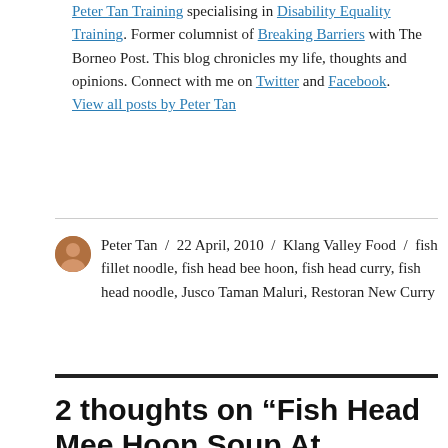Peter Tan Training specialising in Disability Equality Training. Former columnist of Breaking Barriers with The Borneo Post. This blog chronicles my life, thoughts and opinions. Connect with me on Twitter and Facebook. View all posts by Peter Tan
Peter Tan / 22 April, 2010 / Klang Valley Food / fish fillet noodle, fish head bee hoon, fish head curry, fish head noodle, Jusco Taman Maluri, Restoran New Curry
2 thoughts on “Fish Head Mee Hoon Soup At Restoran New Curry”